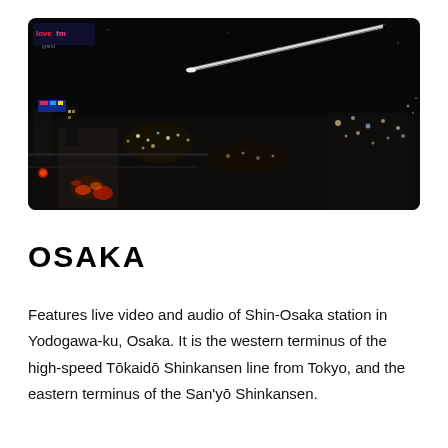[Figure (photo): Night aerial photo of Osaka/Shin-Osaka area showing city lights, streets, and a high-speed train (Shinkansen) as a white streak across the dark sky, taken from a high vantage point.]
OSAKA
Features live video and audio of Shin-Osaka station in Yodogawa-ku, Osaka. It is the western terminus of the high-speed Tōkaidō Shinkansen line from Tokyo, and the eastern terminus of the San'yō Shinkansen.